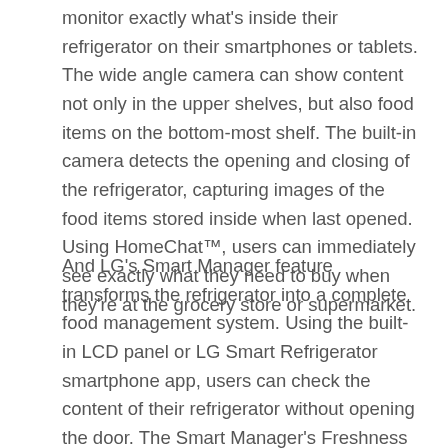monitor exactly what's inside their refrigerator on their smartphones or tablets. The wide angle camera can show content not only in the upper shelves, but also food items on the bottom-most shelf. The built-in camera detects the opening and closing of the refrigerator, capturing images of the food items stored inside when last opened. Using HomeChat™, users can immediately see exactly what they need to buy when they're at the grocery store or supermarket.
And LG's Smart Manager feature transforms the refrigerator into a complete food management system. Using the built-in LCD panel or LG Smart Refrigerator smartphone app, users can check the content of their refrigerator without opening the door. The Smart Manager's Freshness Tracker makes it possible to input a wide range of foods and beverages to keep track of expiration dates. Smart Manager